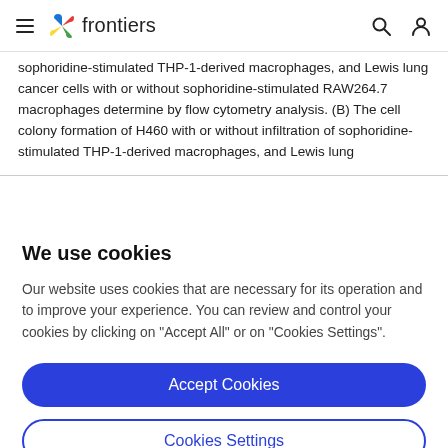frontiers
sophoridine-stimulated THP-1-derived macrophages, and Lewis lung cancer cells with or without sophoridine-stimulated RAW264.7 macrophages determine by flow cytometry analysis. (B) The cell colony formation of H460 with or without infiltration of sophoridine-stimulated THP-1-derived macrophages, and Lewis lung
We use cookies
Our website uses cookies that are necessary for its operation and to improve your experience. You can review and control your cookies by clicking on "Accept All" or on "Cookies Settings".
Accept Cookies
Cookies Settings